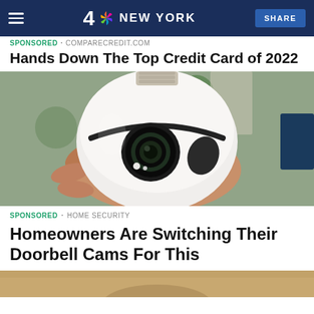4 NBC NEW YORK | SHARE
SPONSORED · COMPARECREDIT.COM
Hands Down The Top Credit Card of 2022
[Figure (photo): A hand holding a white dome-shaped security camera with a lens, resembling a lightbulb form factor, with green bokeh lights in background]
SPONSORED · HOME SECURITY
Homeowners Are Switching Their Doorbell Cams For This
[Figure (photo): Bottom strip of another image, partially visible]